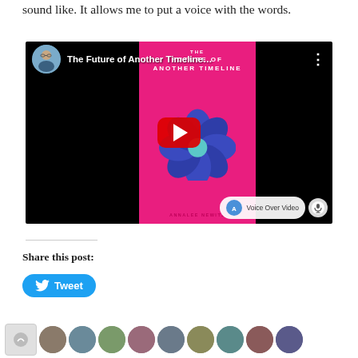sound like. It allows me to put a voice with the words.
[Figure (screenshot): YouTube video embed showing 'The Future of Another Timeline...' with a book cover (pink background, blue flower, ANNALEE NEWITZ author) and a Voice Over Video badge at bottom right. Play button centered over the video.]
Share this post:
[Figure (other): Tweet button (blue, rounded) with Twitter bird icon and 'Tweet' text]
[Figure (other): Row of circular avatar thumbnails at the bottom of the page]